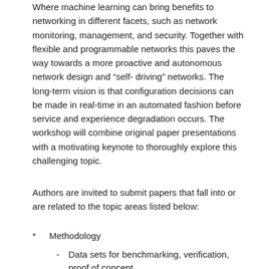Where machine learning can bring benefits to networking in different facets, such as network monitoring, management, and security. Together with flexible and programmable networks this paves the way towards a more proactive and autonomous network design and “self-driving” networks. The long-term vision is that configuration decisions can be made in real-time in an automated fashion before service and experience degradation occurs. The workshop will combine original paper presentations with a motivating keynote to thoroughly explore this challenging topic.
Authors are invited to submit papers that fall into or are related to the topic areas listed below:
* Methodology
- Data sets for benchmarking, verification, proof of concept
- Data augmentation
- Performance evaluation methodology (best practices)
- Good standards for data publishing
- Data prediction and generation (e.g., GANs)